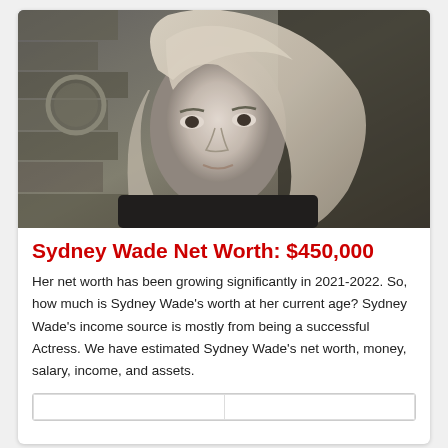[Figure (photo): Black and white close-up portrait photo of a young woman with long blonde hair, looking directly at the camera, with a brick wall background.]
Sydney Wade Net Worth: $450,000
Her net worth has been growing significantly in 2021-2022. So, how much is Sydney Wade's worth at her current age? Sydney Wade's income source is mostly from being a successful Actress. We have estimated Sydney Wade's net worth, money, salary, income, and assets.
|  |  |